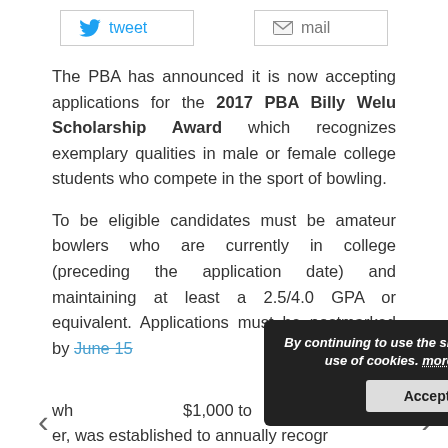[Figure (other): Tweet and mail social sharing buttons at the top of the page]
The PBA has announced it is now accepting applications for the 2017 PBA Billy Welu Scholarship Award which recognizes exemplary qualities in male or female college students who compete in the sport of bowling.
To be eligible candidates must be amateur bowlers who are currently in college (preceding the application date) and maintaining at least a 2.5/4.0 GPA or equivalent. Applications must be postmarked by June 15.
scholarship, wh... $1,000 to
er, was established to annually recogr
By continuing to use the site, you agree to the use of cookies. more information Accept